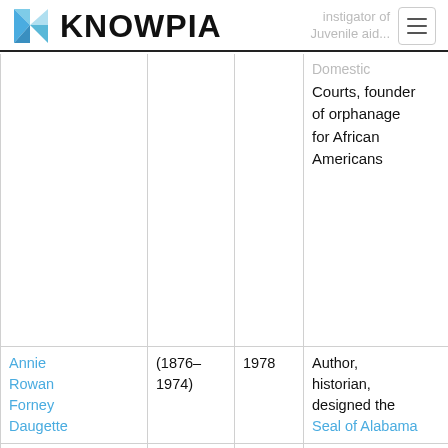KNOWPIA
| Name | Born–Died | Year | Notes |
| --- | --- | --- | --- |
|  |  |  | Domestic Courts, founder of orphanage for African Americans |
| Annie Rowan Forney Daugette | (1876–1974) | 1978 | Author, historian, designed the Seal of Alabama |
| Patti Ruffner Jacobs | (1875–1939) | 1978 | Political scientist, promoter of women's suffrage |